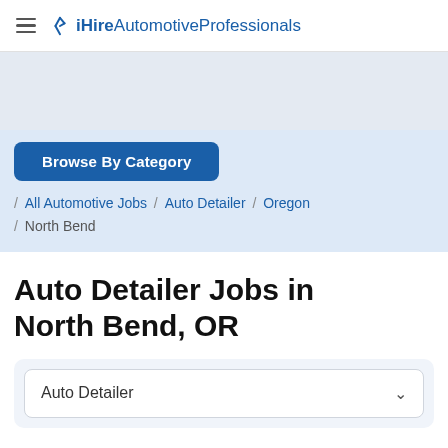iHireAutomotiveProfessionals
[Figure (screenshot): Gray advertisement/banner placeholder area]
Browse By Category
/ All Automotive Jobs / Auto Detailer / Oregon / North Bend
Auto Detailer Jobs in North Bend, OR
Auto Detailer (dropdown selector)